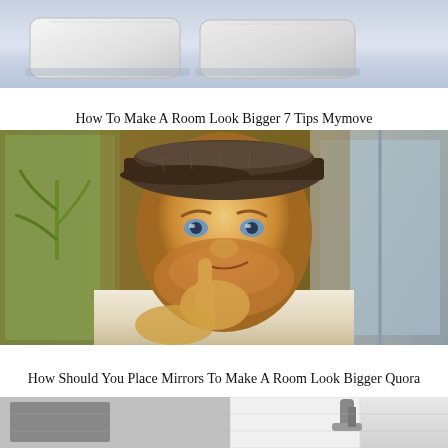[Figure (photo): Top portion of a bedroom scene showing white/gray pillows and bedding on a bed with lavender-blue tones]
How To Make A Room Look Bigger 7 Tips Mymove
[Figure (photo): A man wearing a flat cap and beige/cream colored top pointing his finger toward his chin/mouth, with a wooden interior background including glass doors and plants]
How Should You Place Mirrors To Make A Room Look Bigger Quora
[Figure (photo): Bottom portion of a bathroom scene showing white walls, gray cabinetry and what appears to be a faucet or fixture]